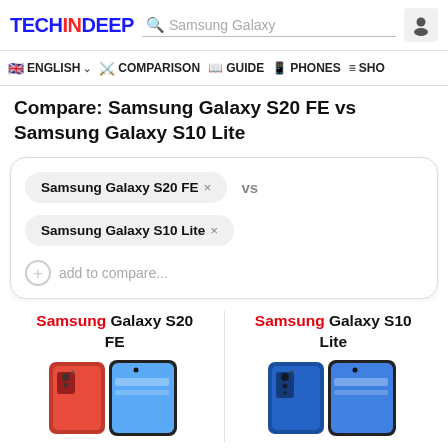TECHINDEEP | Search: Samsung Galaxy | User icon
ENGLISH | COMPARISON | GUIDE | PHONES | SHO
Compare: Samsung Galaxy S20 FE vs Samsung Galaxy S10 Lite
Samsung Galaxy S20 FE × vs
Samsung Galaxy S10 Lite ×
+ add to compare...
Samsung Galaxy S20 FE | Samsung Galaxy S10 Lite